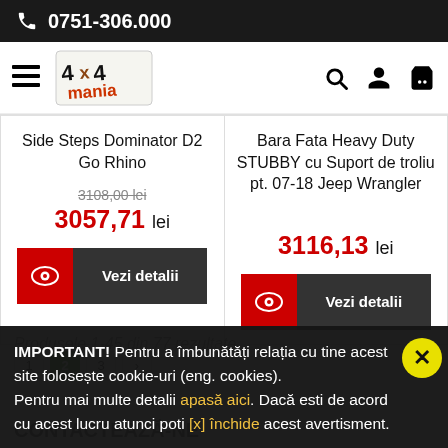0751-306.000
[Figure (logo): 4x4 Mania logo with navigation icons]
Side Steps Dominator D2 Go Rhino
3108,00 lei (strikethrough) | 3057,71 lei
Bara Fata Heavy Duty STUBBY cu Suport de troliu pt. 07-18 Jeep Wrangler
3116,13 lei
IMPORTANT! Pentru a îmbunătăți relația cu tine acest site folosește cookie-uri (eng. cookies). Pentru mai multe detalii apasă aici. Dacă esti de acord cu acest lucru atunci poti [x] închide acest avertisment.